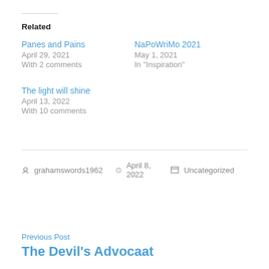Related
Panes and Pains
April 29, 2021
With 2 comments
NaPoWriMo 2021
May 1, 2021
In "Inspiration"
The light will shine
April 13, 2022
With 10 comments
grahamswords1962   April 8, 2022   Uncategorized
Previous Post
The Devil's Advocaat